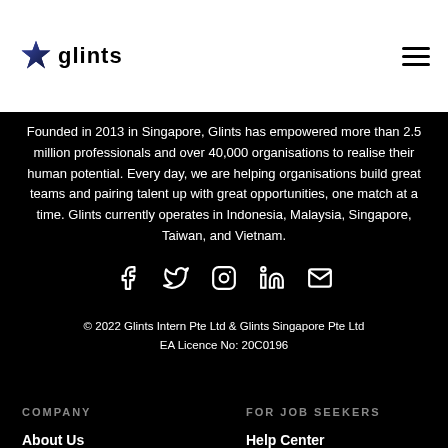[Figure (logo): Glints logo with star icon and 'glints' wordmark]
Founded in 2013 in Singapore, Glints has empowered more than 2.5 million professionals and over 40,000 organisations to realise their human potential. Every day, we are helping organisations build great teams and pairing talent up with great opportunities, one match at a time. Glints currently operates in Indonesia, Malaysia, Singapore, Taiwan, and Vietnam.
[Figure (infographic): Social media icons: Facebook, Twitter, Instagram, LinkedIn, Email]
© 2022 Glints Intern Pte Ltd & Glints Singapore Pte Ltd
EA Licence No: 20C0196
COMPANY
FOR JOB SEEKERS
About Us
Help Center